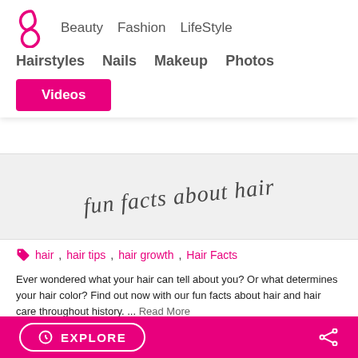Beauty | Fashion | LifeStyle | Hairstyles | Nails | Makeup | Photos | Videos
[Figure (illustration): Cursive handwritten text reading 'fun facts about hair' on a light grey background]
hair, hair tips, hair growth, Hair Facts
Ever wondered what your hair can tell about you? Or what determines your hair color? Find out now with our fun facts about hair and hair care throughout history. ... Read More
Celebrity Hair Colors: Burgundy Hair
EXPLORE